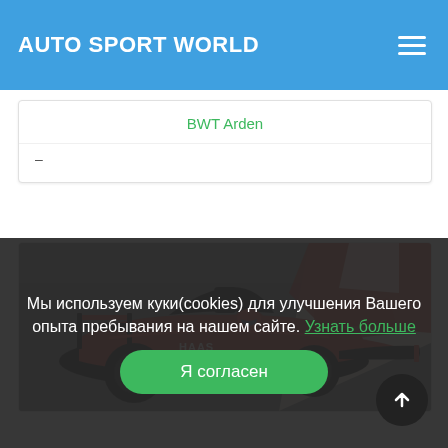AUTO SPORT WORLD
BWT Arden
–
[Figure (photo): Red and black Formula 2 racing car on track, turning at a corner with a red and white kerb visible]
Мы используем куки(cookies) для улучшения Вашего опыта пребывания на нашем сайте. Узнать больше
Я согласен